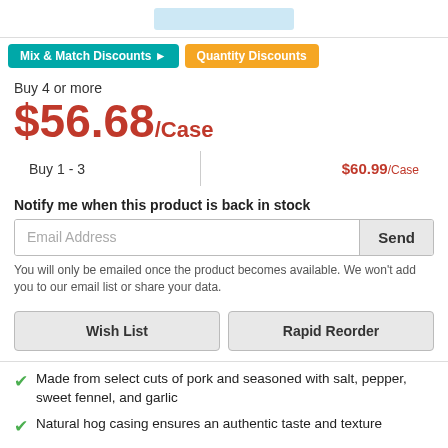[Figure (other): Top bar with a light blue placeholder banner element]
Mix & Match Discounts ▶   Quantity Discounts
Buy 4 or more
$56.68/Case
| Buy 1 - 3 | $60.99/Case |
| --- | --- |
Notify me when this product is back in stock
Email Address
Send
You will only be emailed once the product becomes available. We won't add you to our email list or share your data.
Wish List
Rapid Reorder
Made from select cuts of pork and seasoned with salt, pepper, sweet fennel, and garlic
Natural hog casing ensures an authentic taste and texture
5" length guarantees consistent serving sizes